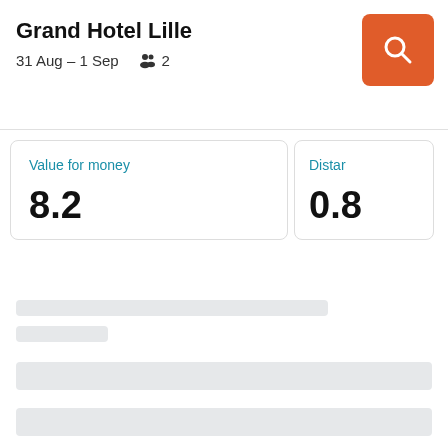Grand Hotel Lille
31 Aug – 1 Sep   2
Value for money
8.2
Distar
0.8
[Figure (other): Loading skeleton bars for search results below the hotel cards]
[Figure (other): Orange search/magnifier button in top right corner]